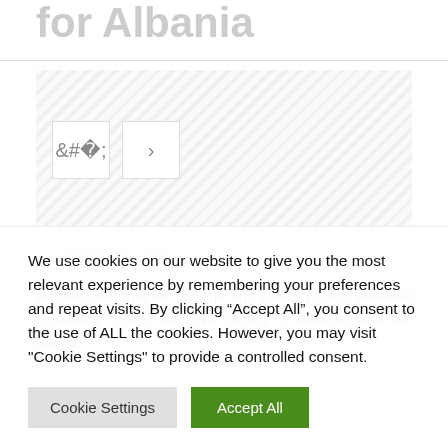for Albania
[Figure (other): Image carousel/slider placeholder with diagonal hatching pattern and two navigation buttons (left arrow and right arrow)]
August 11, 2020
Partners Albania for Change and Development, National Resource Center for Civil Society in Albania, and the Balkan
We use cookies on our website to give you the most relevant experience by remembering your preferences and repeat visits. By clicking “Accept All”, you consent to the use of ALL the cookies. However, you may visit "Cookie Settings" to provide a controlled consent.